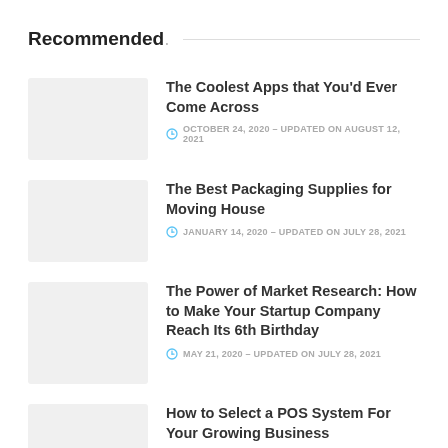Recommended.
The Coolest Apps that You'd Ever Come Across
OCTOBER 24, 2020 – UPDATED ON AUGUST 12, 2021
The Best Packaging Supplies for Moving House
JANUARY 14, 2020 – UPDATED ON JULY 28, 2021
The Power of Market Research: How to Make Your Startup Company Reach Its 6th Birthday
MAY 21, 2020 – UPDATED ON JULY 28, 2021
How to Select a POS System For Your Growing Business
AUGUST 25, 2019 – UPDATED ON AUGUST 23, 2021